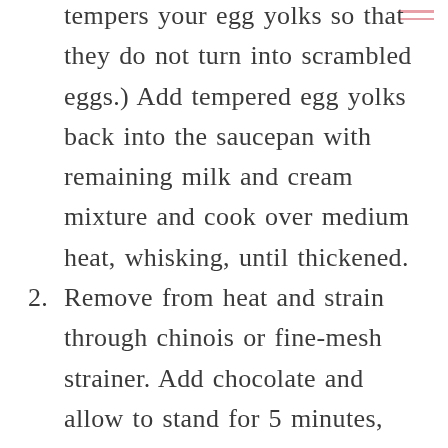tempers your egg yolks so that they do not turn into scrambled eggs.) Add tempered egg yolks back into the saucepan with remaining milk and cream mixture and cook over medium heat, whisking, until thickened.
2. Remove from heat and strain through chinois or fine-mesh strainer. Add chocolate and allow to stand for 5 minutes, then whisk until smooth. Cover and refrigerate until cold, about 4 hours. (If you need to bring the temperature down quickly, place the bowl of cremoso in a large bowl of ice water and give it a whisk every few